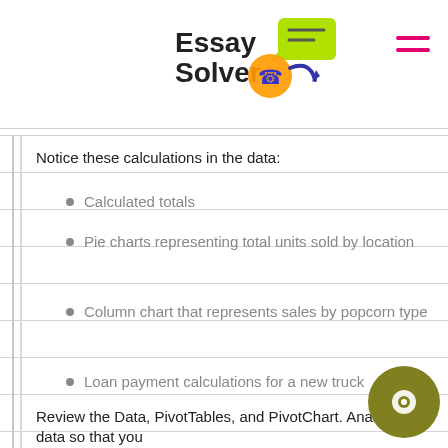[Figure (logo): Essay Solver logo with phone and chat icon graphic]
Notice these calculations in the data:
Calculated totals
Pie charts representing total units sold by location
Column chart that represents sales by popcorn type
Loan payment calculations for a new truck
Review the Data, PivotTables, and PivotChart. Analyze the data so that you